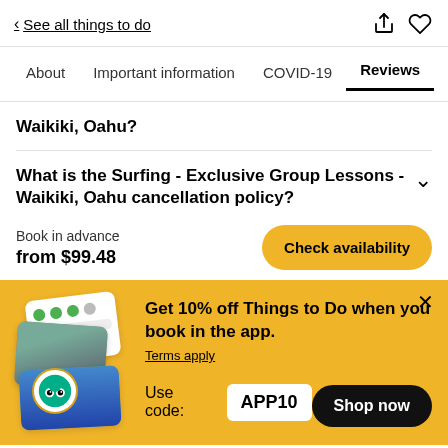< See all things to do
About  Important information  COVID-19  Reviews
Waikiki, Oahu?
What is the Surfing - Exclusive Group Lessons - Waikiki, Oahu cancellation policy?
Book in advance
from $99.48
[Figure (screenshot): Yellow promotional banner: Get 10% off Things to Do when you book in the app. Use code: APP10. Terms apply. Shop now button.]